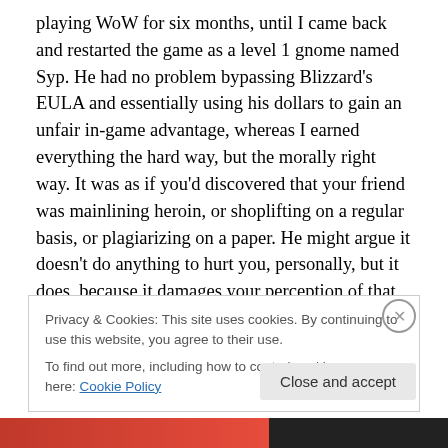playing WoW for six months, until I came back and restarted the game as a level 1 gnome named Syp. He had no problem bypassing Blizzard's EULA and essentially using his dollars to gain an unfair in-game advantage, whereas I earned everything the hard way, but the morally right way. It was as if you'd discovered that your friend was mainlining heroin, or shoplifting on a regular basis, or plagiarizing on a paper. He might argue it doesn't do anything to hurt you, personally, but it does, because it damages your perception of that person and your relationship with them.
Privacy & Cookies: This site uses cookies. By continuing to use this website, you agree to their use.
To find out more, including how to control cookies, see here: Cookie Policy
Close and accept